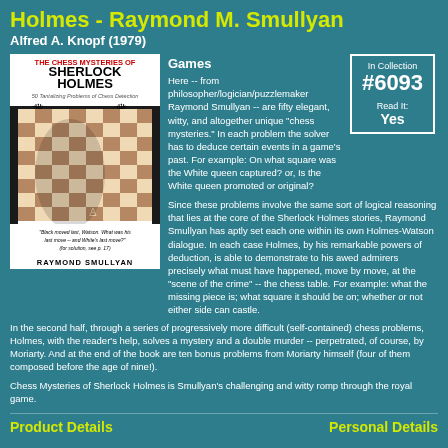Holmes - Raymond M. Smullyan
Alfred A. Knopf (1979)
[Figure (photo): Book cover of 'The Chess Mysteries of Sherlock Holmes' by Raymond Smullyan, showing a chessboard with chess pieces]
Games
Here -- from philosopher/logician/puzzlemaker Raymond Smullyan -- are fifty elegant, witty, and altogether unique "chess mysteries." In each problem the solver has to deduce certain events in a game's past. For example: On what square was the White queen captured? or, Is the White queen promoted or original?
In Collection #6093
Read It: Yes
Since these problems involve the same sort of logical reasoning that lies at the core of the Sherlock Holmes stories, Raymond Smullyan has aptly set each one within its own Holmes-Watson dialogue. In each case Holmes, by his remarkable powers of deduction, is able to demonstrate to his awed admirers precisely what must have happened, move by move, at the "scene of the crime" -- the chess table. For example: what the missing piece is; what square it should be on; whether or not either side can castle.
In the second half, through a series of progressively more difficult (self-contained) chess problems, Holmes, with the reader's help, solves a mystery and a double murder -- perpetrated, of course, by Moriarty. And at the end of the book are ten bonus problems from Moriarty himself (four of them composed before the age of nine!).
Chess Mysteries of Sherlock Holmes is Smullyan's challenging and witty romp through the royal game.
Product Details
Personal Details